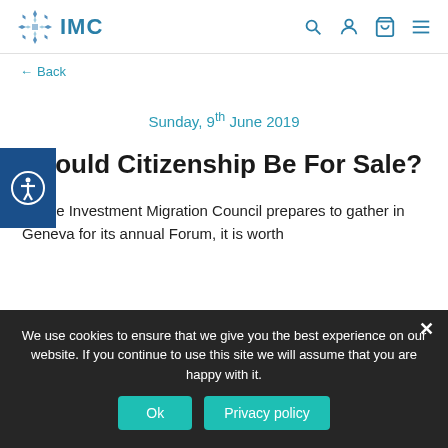IMC — Navigation bar with logo, search, account, cart, and menu icons
← Back
Sunday, 9th June 2019
Should Citizenship Be For Sale?
As the Investment Migration Council prepares to gather in Geneva for its annual Forum, it is worth
We use cookies to ensure that we give you the best experience on our website. If you continue to use this site we will assume that you are happy with it.